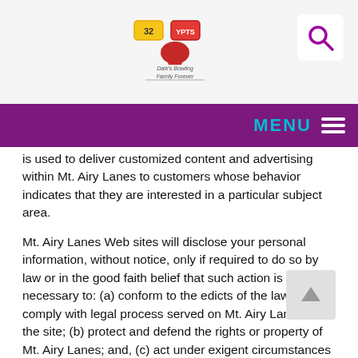Mt. Airy Lanes logo and search button
is used to deliver customized content and advertising within Mt. Airy Lanes to customers whose behavior indicates that they are interested in a particular subject area.
Mt. Airy Lanes Web sites will disclose your personal information, without notice, only if required to do so by law or in the good faith belief that such action is necessary to: (a) conform to the edicts of the law or comply with legal process served on Mt. Airy Lanes or the site; (b) protect and defend the rights or property of Mt. Airy Lanes; and, (c) act under exigent circumstances to protect the personal safety of users of Mt. Airy Lanes, or the public.
Use of Cookies
The Mt. Airy Lanes Web site use "cookies" to help you personalize your online experience. A cookie is a text file that is placed on your hard disk by a Web page server